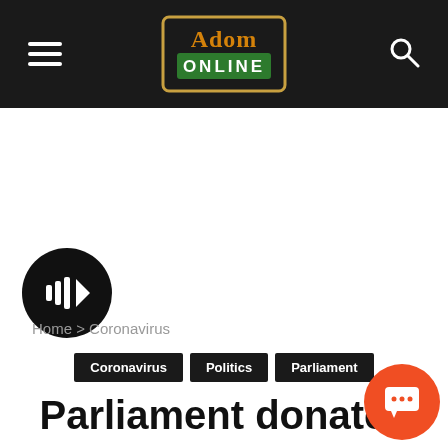Adom Online
[Figure (screenshot): White advertisement/content area]
[Figure (other): Circular play button with sound wave icon]
Home > Coronavirus
Coronavirus  Politics  Parliament
Parliament donates